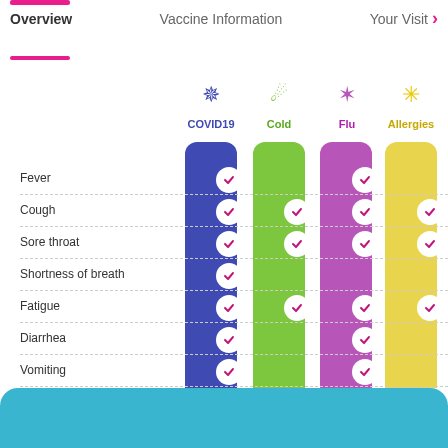Overview   Vaccine Information   Your Visit
[Figure (infographic): Comparison table of symptoms (Fever, Cough, Sore throat, Shortness of breath, Fatigue, Diarrhea, Vomiting, Runny nose, Body aches) across four conditions: COVID19, Cold, Flu, Allergies. Each condition shown as a colored column (blue, green, purple, yellow) with checkmarks indicating which symptoms apply. COVID19: all symptoms checked. Cold: Cough, Sore throat, Fatigue, Runny nose, Body aches. Flu: Fever, Cough, Sore throat, Fatigue, Diarrhea, Vomiting, Runny nose, Body aches. Allergies: Cough, Sore throat, Fatigue, Runny nose.]